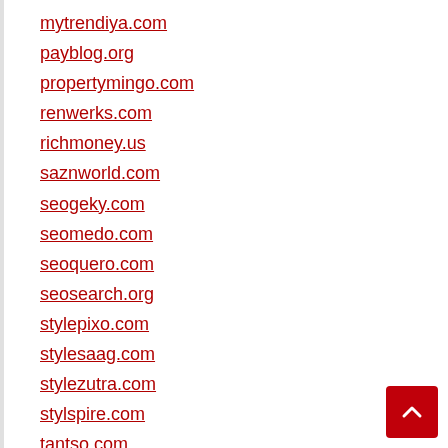mytrendiya.com
payblog.org
propertymingo.com
renwerks.com
richmoney.us
saznworld.com
seogeky.com
seomedo.com
seoquero.com
seosearch.org
stylepixo.com
stylesaag.com
stylezutra.com
stylspire.com
tantso.com